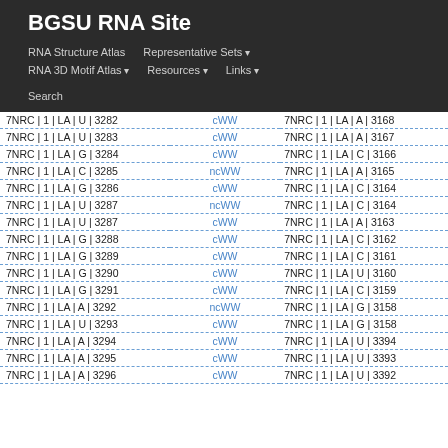BGSU RNA Site
RNA Structure Atlas | Representative Sets ▾ | RNA 3D Motif Atlas ▾ | Resources ▾ | Links ▾ | Search
| Left ID | Type | Right ID |
| --- | --- | --- |
| 7NRC|1|LA|U|3282 | cWW | 7NRC|1|LA|A|3168 |
| 7NRC|1|LA|U|3283 | cWW | 7NRC|1|LA|A|3167 |
| 7NRC|1|LA|G|3284 | cWW | 7NRC|1|LA|C|3166 |
| 7NRC|1|LA|C|3285 | ncWW | 7NRC|1|LA|A|3165 |
| 7NRC|1|LA|G|3286 | cWW | 7NRC|1|LA|C|3164 |
| 7NRC|1|LA|U|3287 | ncWW | 7NRC|1|LA|C|3164 |
| 7NRC|1|LA|U|3287 | cWW | 7NRC|1|LA|A|3163 |
| 7NRC|1|LA|G|3288 | cWW | 7NRC|1|LA|C|3162 |
| 7NRC|1|LA|G|3289 | cWW | 7NRC|1|LA|C|3161 |
| 7NRC|1|LA|G|3290 | cWW | 7NRC|1|LA|U|3160 |
| 7NRC|1|LA|G|3291 | cWW | 7NRC|1|LA|C|3159 |
| 7NRC|1|LA|A|3292 | ncWW | 7NRC|1|LA|G|3158 |
| 7NRC|1|LA|U|3293 | cWW | 7NRC|1|LA|G|3158 |
| 7NRC|1|LA|A|3294 | cWW | 7NRC|1|LA|U|3394 |
| 7NRC|1|LA|A|3295 | cWW | 7NRC|1|LA|U|3393 |
| 7NRC|1|LA|A|3296 | cWW | 7NRC|1|LA|U|3392 |